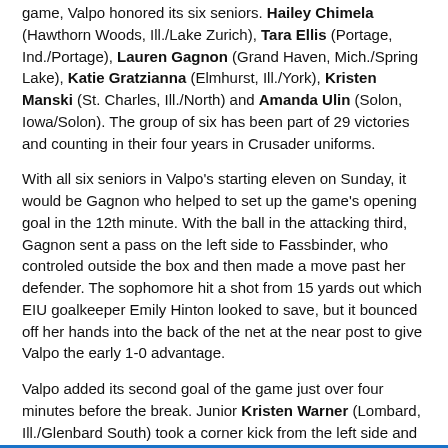game, Valpo honored its six seniors. Hailey Chimela (Hawthorn Woods, Ill./Lake Zurich), Tara Ellis (Portage, Ind./Portage), Lauren Gagnon (Grand Haven, Mich./Spring Lake), Katie Gratzianna (Elmhurst, Ill./York), Kristen Manski (St. Charles, Ill./North) and Amanda Ulin (Solon, Iowa/Solon). The group of six has been part of 29 victories and counting in their four years in Crusader uniforms.
With all six seniors in Valpo's starting eleven on Sunday, it would be Gagnon who helped to set up the game's opening goal in the 12th minute. With the ball in the attacking third, Gagnon sent a pass on the left side to Fassbinder, who controled outside the box and then made a move past her defender. The sophomore hit a shot from 15 yards out which EIU goalkeeper Emily Hinton looked to save, but it bounced off her hands into the back of the net at the near post to give Valpo the early 1-0 advantage.
Valpo added its second goal of the game just over four minutes before the break. Junior Kristen Warner (Lombard, Ill./Glenbard South) took a corner kick from the left side and sent it to the top of the box on the far side. Ludwig was there to corral it, took a touch and then rifled a strike inside the near post to make it 2-0 to the Crusaders at halftime.